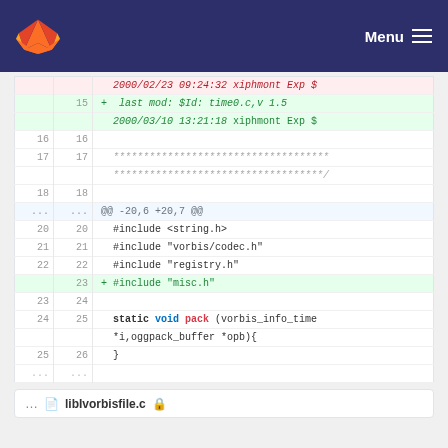GitLab navigation bar with logo and Menu
[Figure (screenshot): GitLab code diff view showing changes to a C source file. Lines 15-26 shown with line numbers, removed lines in pink background with red text, added lines in green background with green text. Shows #include additions and function declaration for static void pack(vorbis_info_time *i, oggpack_buffer *opb).]